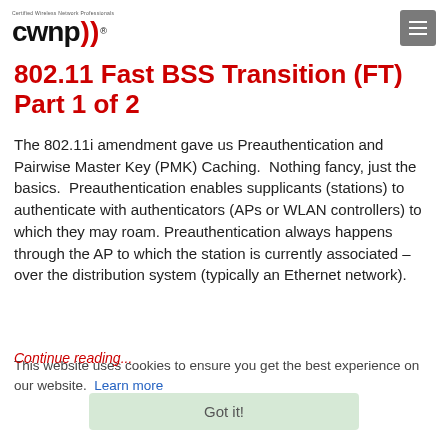CWNP - Certified Wireless Network Professionals
802.11 Fast BSS Transition (FT) Part 1 of 2
The 802.11i amendment gave us Preauthentication and Pairwise Master Key (PMK) Caching.  Nothing fancy, just the basics.  Preauthentication enables supplicants (stations) to authenticate with authenticators (APs or WLAN controllers) to which they may roam. Preauthentication always happens through the AP to which the station is currently associated – over the distribution system (typically an Ethernet network).
This website uses cookies to ensure you get the best experience on our website. Learn more
Continue reading...
Got it!